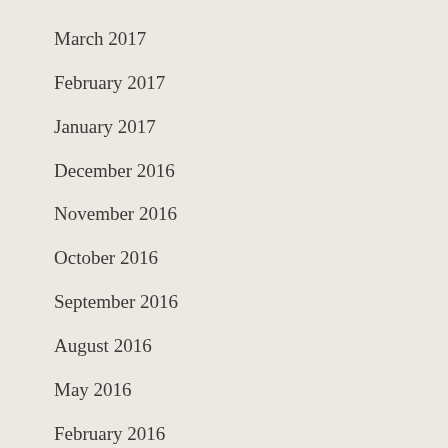March 2017
February 2017
January 2017
December 2016
November 2016
October 2016
September 2016
August 2016
May 2016
February 2016
January 2016